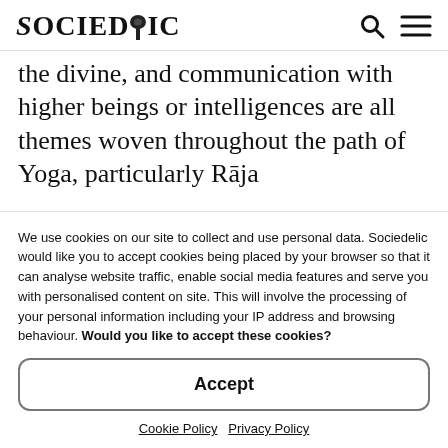Sociedelic
the divine, and communication with higher beings or intelligences are all themes woven throughout the path of Yoga, particularly Rāja
We use cookies on our site to collect and use personal data. Sociedelic would like you to accept cookies being placed by your browser so that it can analyse website traffic, enable social media features and serve you with personalised content on site. This will involve the processing of your personal information including your IP address and browsing behaviour. Would you like to accept these cookies?
Accept
Cookie Policy   Privacy Policy